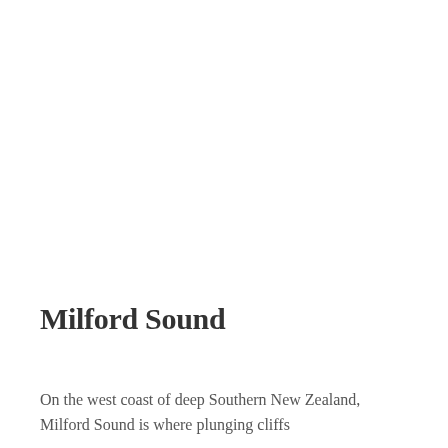Milford Sound
On the west coast of deep Southern New Zealand, Milford Sound is where plunging cliffs